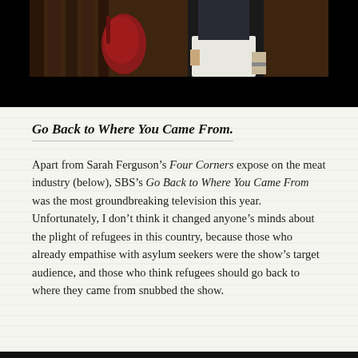[Figure (photo): Partial photo of a person standing, wearing a white skirt/apron and dark top, with a red object visible to their left. Lower portion of the image is a black bar. Background appears dark and indoor.]
Go Back to Where You Came From.
Apart from Sarah Ferguson’s Four Corners expose on the meat industry (below), SBS’s Go Back to Where You Came From was the most groundbreaking television this year. Unfortunately, I don’t think it changed anyone’s minds about the plight of refugees in this country, because those who already empathise with asylum seekers were the show’s target audience, and those who think refugees should go back to where they came from snubbed the show.